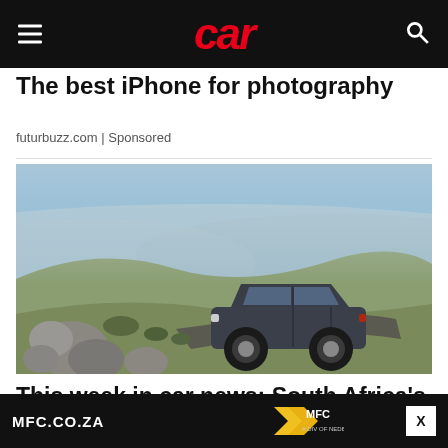car
The best iPhone for photography
futurbuzz.com | Sponsored
[Figure (photo): A dark grey SUV driving on a rocky dirt road in a scenic hilly landscape with shrubs and boulders in the foreground under a bright sky]
This week in car news: South Africa's
MFC.CO.ZA